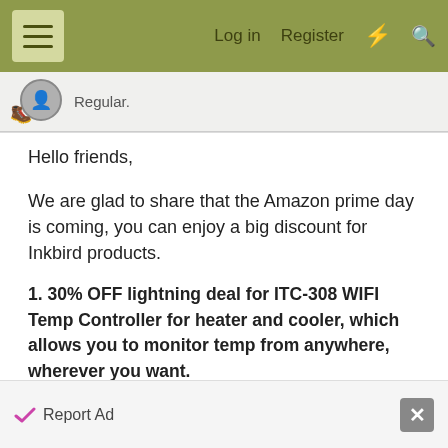Log in   Register
Regular.
Hello friends,

We are glad to share that the Amazon prime day is coming, you can enjoy a big discount for Inkbird products.

1. 30% OFF lightning deal for ITC-308 WIFI Temp Controller for heater and cooler, which allows you to monitor temp from anywhere, wherever you want.
Time: 13:30 BST - 23:30 BST ( 15th,July ONLY)
Discount price: £32.19 (Original price: £45.99)
Link: https://www.amazon.co.uk/Inkbird-Te...-ITC-
Report Ad